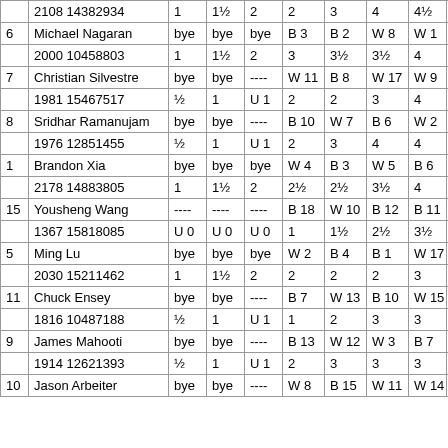|  | Name/ID | R1 | R2 | R3 | R4 | R5 | R6 | R7 |  |
| --- | --- | --- | --- | --- | --- | --- | --- | --- | --- |
|  | 2108 14382934 | 1 | 1½ | 2 | 2 | 3 | 4 | 4½ | $5 |
| 6 | Michael Nagaran | bye | bye | bye | B 3 | B 2 | W 8 | W 1 |  |
|  | 2000 10458803 | 1 | 1½ | 2 | 3 | 3½ | 3½ | 4 |  |
| 7 | Christian Silvestre | bye | bye | ---- | W 11 | B 8 | W 17 | W 9 | Tie |
|  | 1981 15467517 | ½ | 1 | U 1 | 2 | 2 | 3 | 4 | $4 |
| 8 | Sridhar Ramanujam | bye | bye | ---- | B 10 | W 7 | B 6 | W 2 | Tie |
|  | 1976 12851455 | ½ | 1 | U 1 | 2 | 3 | 4 | 4 | $4 |
| 1 | Brandon Xia | bye | bye | bye | W 4 | B 3 | W 5 | B 6 |  |
|  | 2178 14883805 | 1 | 1½ | 2 | 2½ | 2½ | 3½ | 4 |  |
| 15 | Yousheng Wang | ---- | ---- | ---- | B 18 | W 10 | B 12 | B 11 | U1 |
|  | 1367 15818085 | U 0 | U 0 | U 0 | 1 | 1½ | 2½ | 3½ | $4 |
| 5 | Ming Lu | bye | bye | bye | W 2 | B 4 | B 1 | W 17 |  |
|  | 2030 15211462 | 1 | 1½ | 2 | 2 | 2 | 2 | 3 |  |
| 11 | Chuck Ensey | bye | bye | ---- | B 7 | W 13 | B 10 | W 15 |  |
|  | 1816 10487188 | ½ | 1 | U 1 | 1 | 2 | 3 | 3 |  |
| 9 | James Mahooti | bye | bye | ---- | B 13 | W 12 | W 3 | B 7 |  |
|  | 1914 12621393 | ½ | 1 | U 1 | 2 | 3 | 3 | 3 |  |
| 10 | Jason Arbeiter | bye | bye | ---- | W 8 | B 15 | W 11 | W 14 |  |